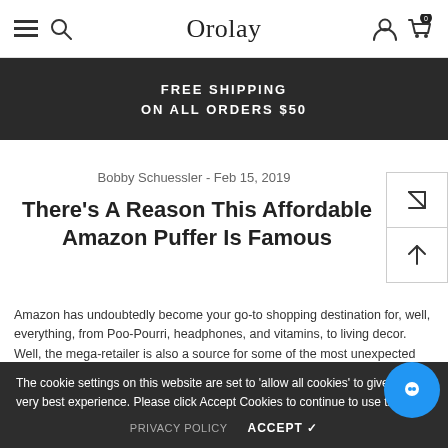Orolay
FREE SHIPPING
ON ALL ORDERS $50
Bobby Schuessler - Feb 15, 2019
There's A Reason This Affordable Amazon Puffer Is Famous
Amazon has undoubtedly become your go-to shopping destination for, well, everything, from Poo-Pourri, headphones, and vitamins, to living decor. Well, the mega-retailer is also a source for some of the most unexpected fashion finds, outerwear included, in
The cookie settings on this website are set to 'allow all cookies' to give you the very best experience. Please click Accept Cookies to continue to use the site.
PRIVACY POLICY   ACCEPT ✓